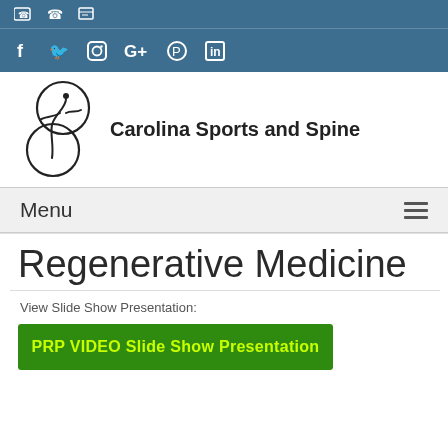[Figure (logo): Contact/utility icon bar with phone and contact card icons on blue background]
[Figure (logo): Social media icon bar with Facebook, Twitter, Instagram, Google+, Pinterest, LinkedIn icons on blue background]
[Figure (logo): Carolina Sports and Spine logo with circular spine figure graphic and text 'Carolina Sports and Spine']
Menu
Regenerative Medicine
View Slide Show Presentation:
PRP VIDEO Slide Show Presentation